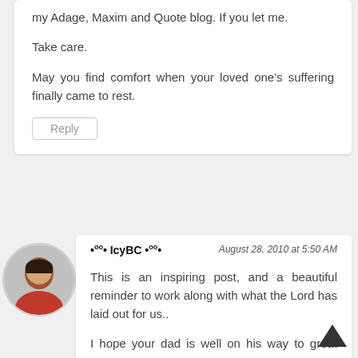my Adage, Maxim and Quote blog. If you let me.

Take care.

May you find comfort when your loved one's suffering finally came to rest.
Reply
[Figure (photo): Circular avatar of a person wearing a pink/red garment]
•°°• IcyBC •°°•
August 28, 2010 at 5:50 AM
This is an inspiring post, and a beautiful reminder to work along with what the Lord has laid out for us..

I hope your dad is well on his way to great health!
Reply